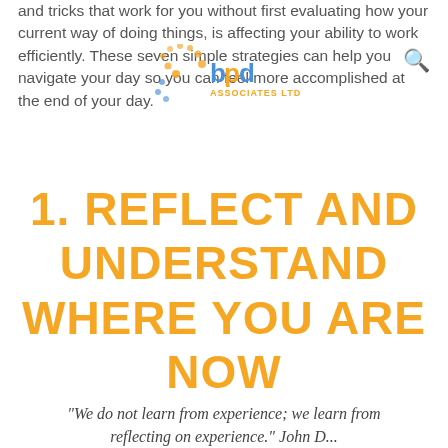and tricks that work for you without first evaluating how your current way of doing things, is affecting your ability to work efficiently. These seven simple strategies can help you navigate your day so you can feel more accomplished at the end of your day.
[Figure (logo): BPD Associates Ltd logo with orange dots and blue/orange text]
1. REFLECT AND UNDERSTAND WHERE YOU ARE NOW
"We do not learn from experience; we learn from reflecting on experience." John D...